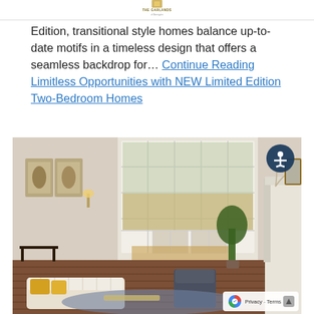THE GARLANDS of Barrington
Edition, transitional style homes balance up-to-date motifs in a timeless design that offers a seamless backdrop for… Continue Reading Limitless Opportunities with NEW Limited Edition Two-Bedroom Homes
[Figure (photo): Interior photo of a bright, upscale living room with tall bay windows, white fireplace mantle, cream tufted sofa with yellow pillows, dark leather chair, potted tree, botanical wall art, and an accessibility icon button in the top right corner.]